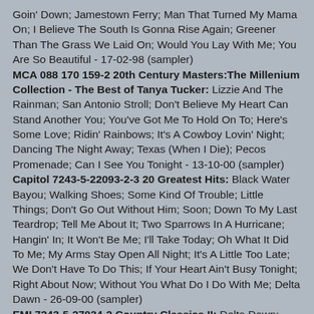Goin' Down; Jamestown Ferry; Man That Turned My Mama On; I Believe The South Is Gonna Rise Again; Greener Than The Grass We Laid On; Would You Lay With Me; You Are So Beautiful - 17-02-98 (sampler)
MCA 088 170 159-2 20th Century Masters:The Millenium Collection - The Best of Tanya Tucker: Lizzie And The Rainman; San Antonio Stroll; Don't Believe My Heart Can Stand Another You; You've Got Me To Hold On To; Here's Some Love; Ridin' Rainbows; It's A Cowboy Lovin' Night; Dancing The Night Away; Texas (When I Die); Pecos Promenade; Can I See You Tonight - 13-10-00 (sampler)
Capitol 7243-5-22093-2-3 20 Greatest Hits: Black Water Bayou; Walking Shoes; Some Kind Of Trouble; Little Things; Don't Go Out Without Him; Soon; Down To My Last Teardrop; Tell Me About It; Two Sparrows In A Hurricane; Hangin' In; It Won't Be Me; I'll Take Today; Oh What It Did To Me; My Arms Stay Open All Night; It's A Little Too Late; We Don't Have To Do This; If Your Heart Ain't Busy Tonight; Right About Now; Without You What Do I Do With Me; Delta Dawn - 26-09-00 (sampler)
EMI 7243-5-27034-2 Country Classics II: Delta Dawn; Down To My Last Teardrop; Soon; Here's Some Love; I'll